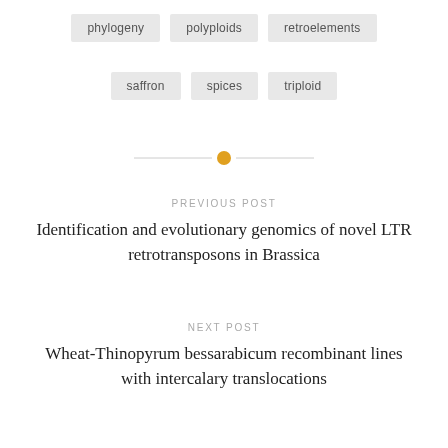phylogeny
polyploids
retroelements
saffron
spices
triploid
[Figure (other): Horizontal divider line with orange/gold circle in center]
PREVIOUS POST
Identification and evolutionary genomics of novel LTR retrotransposons in Brassica
NEXT POST
Wheat-Thinopyrum bessarabicum recombinant lines with intercalary translocations